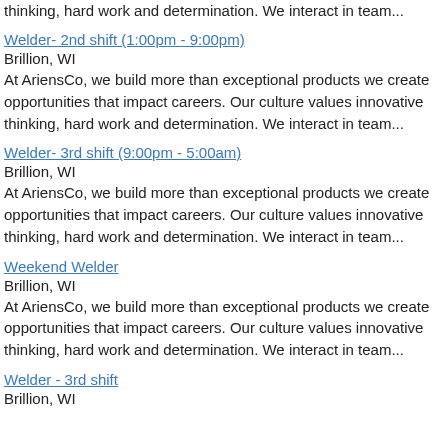thinking, hard work and determination. We interact in team...
Welder- 2nd shift (1:00pm - 9:00pm)
Brillion, WI
At AriensCo, we build more than exceptional products we create opportunities that impact careers. Our culture values innovative thinking, hard work and determination. We interact in team...
Welder- 3rd shift (9:00pm - 5:00am)
Brillion, WI
At AriensCo, we build more than exceptional products we create opportunities that impact careers. Our culture values innovative thinking, hard work and determination. We interact in team...
Weekend Welder
Brillion, WI
At AriensCo, we build more than exceptional products we create opportunities that impact careers. Our culture values innovative thinking, hard work and determination. We interact in team...
Welder - 3rd shift
Brillion, WI